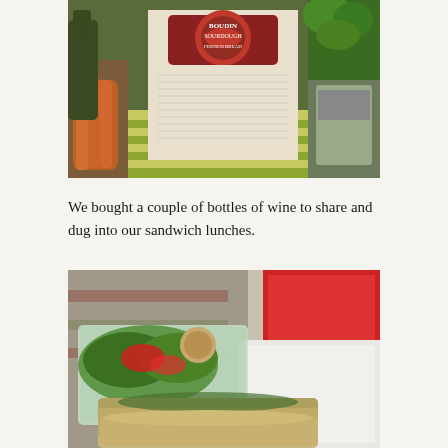[Figure (photo): Photo of grocery items including a bag of Boudin Sourdough French bread, vegetables including carrots, leafy greens, and other market items on a striped cloth surface.]
We bought a couple of bottles of wine to share and dug into our sandwich lunches.
[Figure (photo): Photo of a salad in a plastic container with dressing and a sandwich on whole grain bread, laid out on a picnic surface with a red box in the background.]